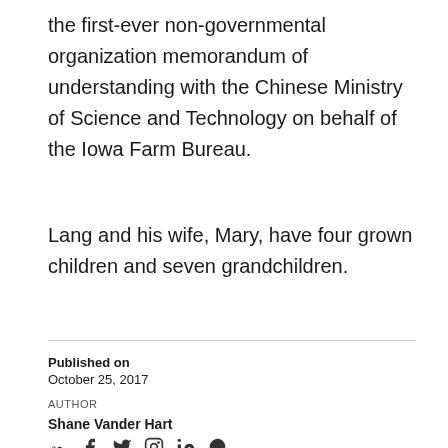the first-ever non-governmental organization memorandum of understanding with the Chinese Ministry of Science and Technology on behalf of the Iowa Farm Bureau.
Lang and his wife, Mary, have four grown children and seven grandchildren.
Published on
October 25, 2017
AUTHOR
Shane Vander Hart